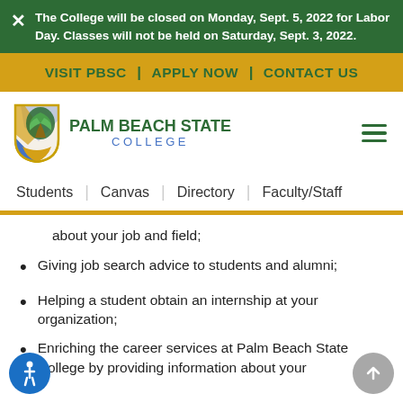The College will be closed on Monday, Sept. 5, 2022 for Labor Day. Classes will not be held on Saturday, Sept. 3, 2022.
VISIT PBSC | APPLY NOW | CONTACT US
[Figure (logo): Palm Beach State College logo with palm tree shield and text]
Students | Canvas | Directory | Faculty/Staff
about your job and field;
Giving job search advice to students and alumni;
Helping a student obtain an internship at your organization;
Enriching the career services at Palm Beach State College by providing information about your